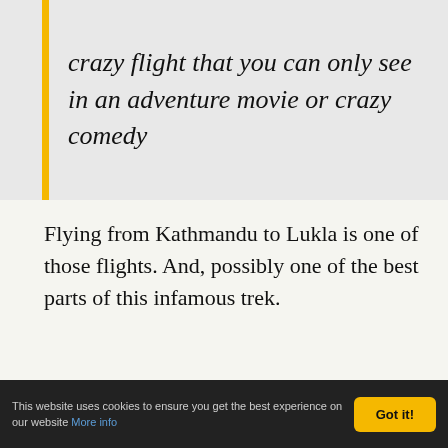crazy flight that you can only see in an adventure movie or crazy comedy
Flying from Kathmandu to Lukla is one of those flights. And, possibly one of the best parts of this infamous trek.
[Figure (photo): Partial view of an aircraft tail fin with colorful markings against a blue sky background]
Let's start easily though, and get the
This website uses cookies to ensure you get the best experience on our website More info  Got it!